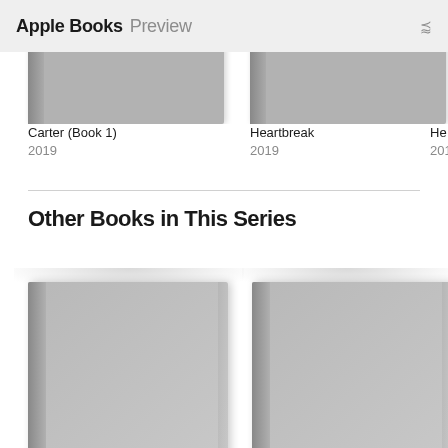Apple Books Preview
Carter (Book 1)
2019
Heartbreak
2019
He
201
Other Books in This Series
[Figure (illustration): Two book covers partially visible at top, gray placeholder covers]
[Figure (illustration): Two book covers partially visible at bottom, gray placeholder covers with spine shadows]